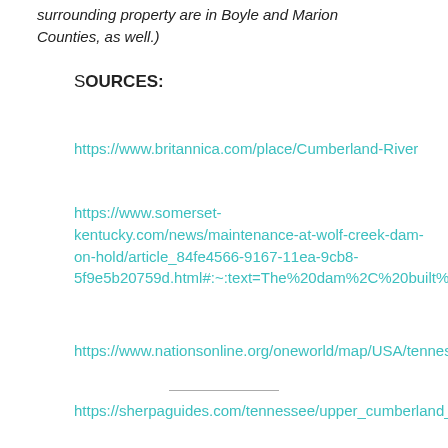surrounding property are in Boyle and Marion Counties, as well.)
SOURCES:
https://www.britannica.com/place/Cumberland-River
https://www.somerset-kentucky.com/news/maintenance-at-wolf-creek-dam-on-hold/article_84fe4566-9167-11ea-9cb8-5f9e5b20759d.html#:~:text=The%20dam%2C%20built%20
https://www.nationsonline.org/oneworld/map/USA/tennesse
https://sherpaguides.com/tennessee/upper_cumberland_p